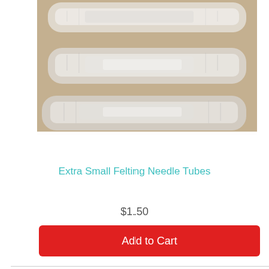[Figure (photo): Three translucent/clear plastic rectangular needle storage tubes arranged horizontally on a tan/beige surface, photographed from above.]
Extra Small Felting Needle Tubes
$1.50
Add to Cart